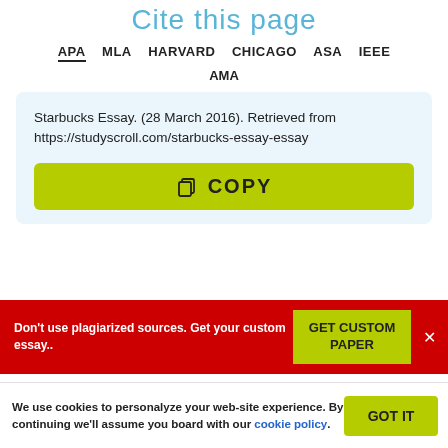Cite this page
APA  MLA  HARVARD  CHICAGO  ASA  IEEE  AMA
Starbucks Essay. (28 March 2016). Retrieved from https://studyscroll.com/starbucks-essay-essay
COPY
Don't use plagiarized sources. Get your custom essay..
GET CUSTOM PAPER
We use cookies to personalyze your web-site experience. By continuing we'll assume you board with our cookie policy.
GOT IT